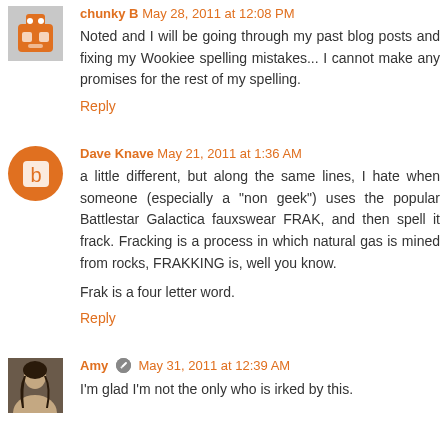chunky B May 28, 2011 at 12:08 PM
Noted and I will be going through my past blog posts and fixing my Wookiee spelling mistakes... I cannot make any promises for the rest of my spelling.
Reply
Dave Knave May 21, 2011 at 1:36 AM
a little different, but along the same lines, I hate when someone (especially a "non geek") uses the popular Battlestar Galactica fauxswear FRAK, and then spell it frack. Fracking is a process in which natural gas is mined from rocks, FRAKKING is, well you know.
Frak is a four letter word.
Reply
Amy May 31, 2011 at 12:39 AM
I'm glad I'm not the only who is irked by this.